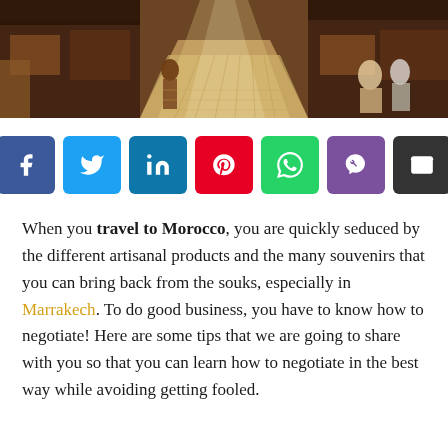[Figure (photo): A sunlit narrow market alley (souk) in Morocco with vendors and people walking, warm tones with bright sunlight streaming through]
[Figure (infographic): Social sharing buttons row: Facebook (blue), Twitter (light blue), LinkedIn (dark blue), Pinterest (red), WhatsApp (green), Viber (purple), Email (dark gray)]
When you travel to Morocco, you are quickly seduced by the different artisanal products and the many souvenirs that you can bring back from the souks, especially in Marrakech. To do good business, you have to know how to negotiate! Here are some tips that we are going to share with you so that you can learn how to negotiate in the best way while avoiding getting fooled.